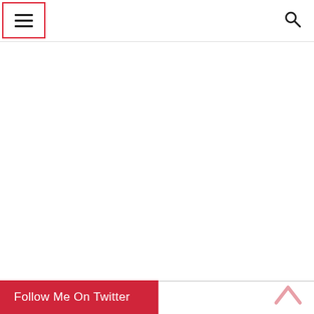☰ [menu icon] [search icon]
[Figure (screenshot): Mostly blank white page body area]
Follow Me On Twitter [chevron up icon]